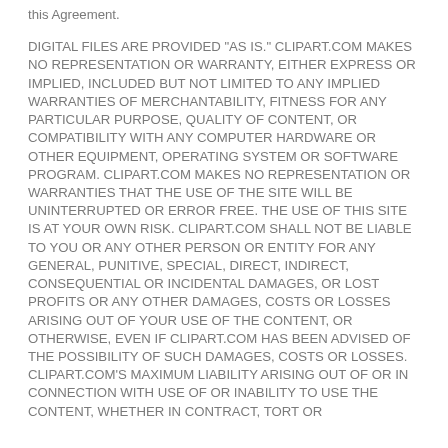this Agreement.
DIGITAL FILES ARE PROVIDED "AS IS." CLIPART.COM MAKES NO REPRESENTATION OR WARRANTY, EITHER EXPRESS OR IMPLIED, INCLUDED BUT NOT LIMITED TO ANY IMPLIED WARRANTIES OF MERCHANTABILITY, FITNESS FOR ANY PARTICULAR PURPOSE, QUALITY OF CONTENT, OR COMPATIBILITY WITH ANY COMPUTER HARDWARE OR OTHER EQUIPMENT, OPERATING SYSTEM OR SOFTWARE PROGRAM. CLIPART.COM MAKES NO REPRESENTATION OR WARRANTIES THAT THE USE OF THE SITE WILL BE UNINTERRUPTED OR ERROR FREE. THE USE OF THIS SITE IS AT YOUR OWN RISK. CLIPART.COM SHALL NOT BE LIABLE TO YOU OR ANY OTHER PERSON OR ENTITY FOR ANY GENERAL, PUNITIVE, SPECIAL, DIRECT, INDIRECT, CONSEQUENTIAL OR INCIDENTAL DAMAGES, OR LOST PROFITS OR ANY OTHER DAMAGES, COSTS OR LOSSES ARISING OUT OF YOUR USE OF THE CONTENT, OR OTHERWISE, EVEN IF CLIPART.COM HAS BEEN ADVISED OF THE POSSIBILITY OF SUCH DAMAGES, COSTS OR LOSSES. CLIPART.COM'S MAXIMUM LIABILITY ARISING OUT OF OR IN CONNECTION WITH USE OF OR INABILITY TO USE THE CONTENT, WHETHER IN CONTRACT, TORT OR